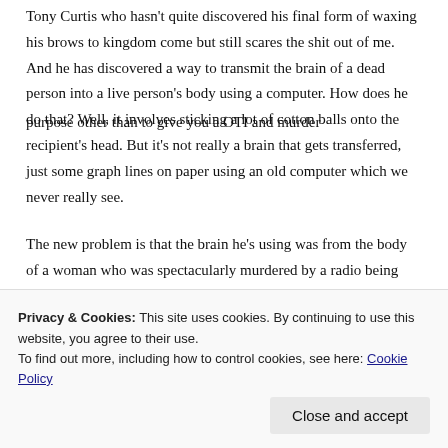Tony Curtis who hasn't quite discovered his final form of waxing his brows to kingdom come but still scares the shit out of me. And he has discovered a way to transmit the brain of a dead person into a live person's body using a computer. How does he do that? Well, it involves sticking a lot of cotton balls onto the recipient's head. But it's not really a brain that gets transferred, just some graph lines on paper using an old computer which we never really see.
The new problem is that the brain he's using was from the body of a woman who was spectacularly murdered by a radio being dropped into her bathtub
purpose other than to give you a OTI and murder
Privacy & Cookies: This site uses cookies. By continuing to use this website, you agree to their use.
To find out more, including how to control cookies, see here: Cookie Policy